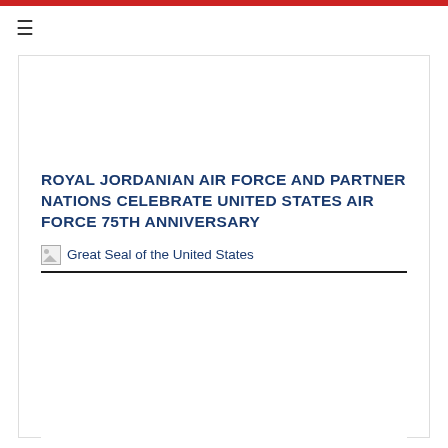≡
ROYAL JORDANIAN AIR FORCE AND PARTNER NATIONS CELEBRATE UNITED STATES AIR FORCE 75TH ANNIVERSARY
[Figure (logo): Great Seal of the United States (broken image placeholder) with text label]
[Figure (photo): Empty image area below the seal section]
Alert: Tawjihi Results Expected August 18 – U.S. Embassy – Amman